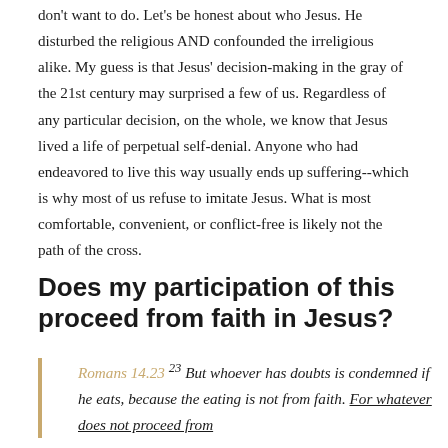don't want to do. Let's be honest about who Jesus. He disturbed the religious AND confounded the irreligious alike. My guess is that Jesus' decision-making in the gray of the 21st century may surprised a few of us. Regardless of any particular decision, on the whole, we know that Jesus lived a life of perpetual self-denial. Anyone who had endeavored to live this way usually ends up suffering--which is why most of us refuse to imitate Jesus. What is most comfortable, convenient, or conflict-free is likely not the path of the cross.
Does my participation of this proceed from faith in Jesus?
Romans 14.23 23 But whoever has doubts is condemned if he eats, because the eating is not from faith. For whatever does not proceed from